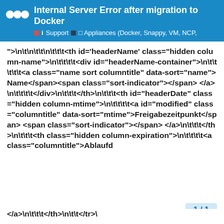Internal Server Error after migration to Docker
i Support  Appliances (Docker, Snappy, VM, NCP,
">
	
		
			<th id='headerName' class="hidden column-name">
				<div id="headerName-container">
					<a class="name sort columntitle" data-sort="name">Name</span><span class="sort-indicator"></span></a>
				</div>
			</th>
			<th id="headerDate" class="hidden column-mtime">
				<a id="modified" class="columntitle" data-sort="mtime">Freigabezeitpunkt</span><span class="sort-indicator"></span></a>
			</th>
			<th class="hidden column-expiration">
				<a class="columntitle">Ablaufd</a>
			</th>
		</tr>\
1 / 1